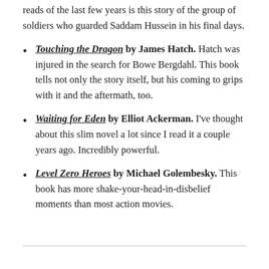reads of the last few years is this story of the group of soldiers who guarded Saddam Hussein in his final days.
Touching the Dragon by James Hatch. Hatch was injured in the search for Bowe Bergdahl. This book tells not only the story itself, but his coming to grips with it and the aftermath, too.
Waiting for Eden by Elliot Ackerman. I've thought about this slim novel a lot since I read it a couple years ago. Incredibly powerful.
Level Zero Heroes by Michael Golembesky. This book has more shake-your-head-in-disbelief moments than most action movies.